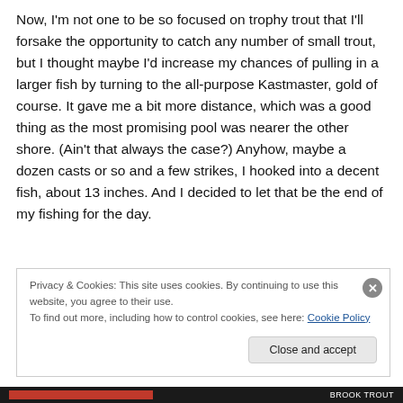Now, I'm not one to be so focused on trophy trout that I'll forsake the opportunity to catch any number of small trout, but I thought maybe I'd increase my chances of pulling in a larger fish by turning to the all-purpose Kastmaster, gold of course. It gave me a bit more distance, which was a good thing as the most promising pool was nearer the other shore. (Ain't that always the case?) Anyhow, maybe a dozen casts or so and a few strikes, I hooked into a decent fish, about 13 inches. And I decided to let that be the end of my fishing for the day.
Privacy & Cookies: This site uses cookies. By continuing to use this website, you agree to their use.
To find out more, including how to control cookies, see here: Cookie Policy